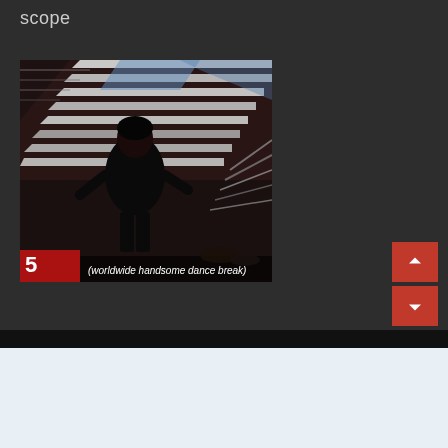scope
[Figure (screenshot): A person in black clothing dancing/performing on a stage with dramatic metallic reflective lighting panels overhead. A subtitle at the bottom reads '(worldwide handsome dance break)' with a red banner on the lower left.]
This site uses cookies. By continuing to browse this site, you are agreeing to our use of cookies.
More Details   Close